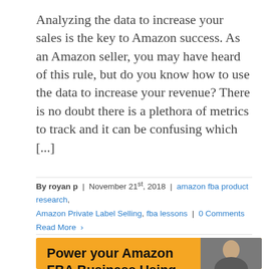Analyzing the data to increase your sales is the key to Amazon success. As an Amazon seller, you may have heard of this rule, but do you know how to use the data to increase your revenue? There is no doubt there is a plethora of metrics to track and it can be confusing which [...]
By royan p | November 21st, 2018 | amazon fba product research, Amazon Private Label Selling, fba lessons | 0 Comments
Read More ›
[Figure (infographic): Yellow/orange banner advertisement for ProductSpyPro with bold black text reading 'Power your Amazon FBA Business Using ProductSpyPro Sentiment Analysis Tool', a green line chart icon in the upper right, and a partial photo of a person in the lower right corner.]